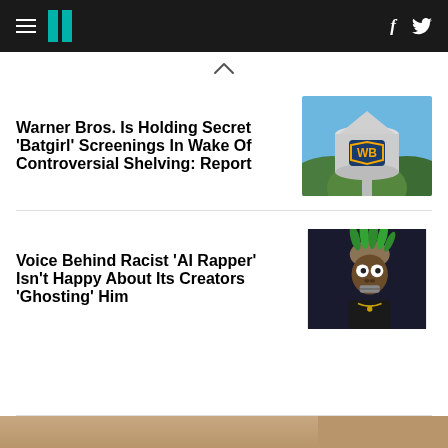HuffPost navigation with hamburger menu, logo, Facebook and Twitter icons
Warner Bros. Is Holding Secret 'Batgirl' Screenings In Wake Of Controversial Shelving: Report
[Figure (photo): Warner Bros. water tower with WB shield logo against blue sky and green hills]
Voice Behind Racist 'AI Rapper' Isn't Happy About Its Creators 'Ghosting' Him
[Figure (photo): Animated or puppet character with green mohawk hair, white eyes, dark skin, wearing black jacket with gold chain]